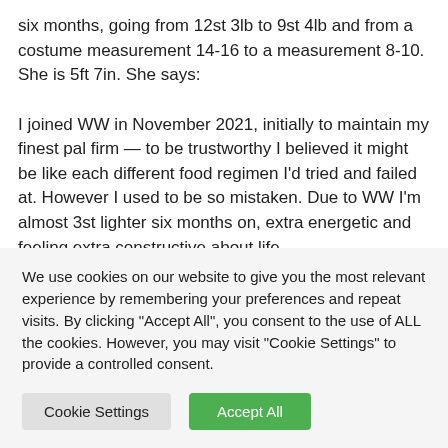six months, going from 12st 3lb to 9st 4lb and from a costume measurement 14-16 to a measurement 8-10. She is 5ft 7in. She says:
I joined WW in November 2021, initially to maintain my finest pal firm — to be trustworthy I believed it might be like each different food regimen I'd tried and failed at. However I used to be so mistaken. Due to WW I'm almost 3st lighter six months on, extra energetic and feeling extra constructive about life
We use cookies on our website to give you the most relevant experience by remembering your preferences and repeat visits. By clicking "Accept All", you consent to the use of ALL the cookies. However, you may visit "Cookie Settings" to provide a controlled consent.